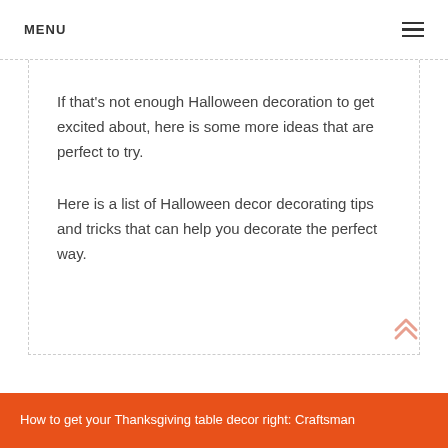MENU
If that's not enough Halloween decoration to get excited about, here is some more ideas that are perfect to try.
Here is a list of Halloween decor decorating tips and tricks that can help you decorate the perfect way.
How to get your Thanksgiving table decor right: Craftsman